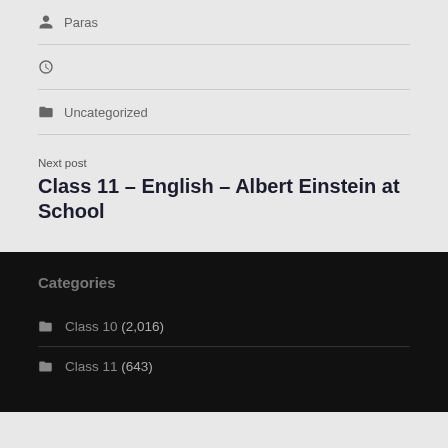Paras
Uncategorized
Next post
Class 11 – English – Albert Einstein at School
Categories
Class 10 (2,016)
Class 11 (643)